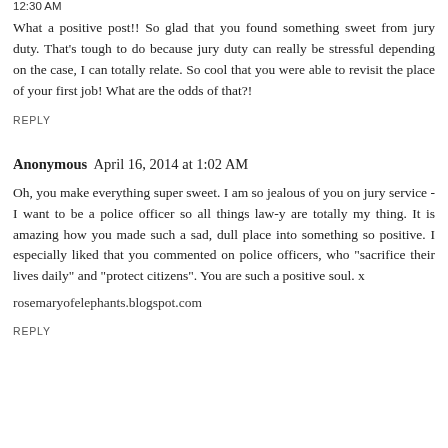12:30 AM
What a positive post!! So glad that you found something sweet from jury duty. That's tough to do because jury duty can really be stressful depending on the case, I can totally relate. So cool that you were able to revisit the place of your first job! What are the odds of that?!
REPLY
Anonymous  April 16, 2014 at 1:02 AM
Oh, you make everything super sweet. I am so jealous of you on jury service - I want to be a police officer so all things law-y are totally my thing. It is amazing how you made such a sad, dull place into something so positive. I especially liked that you commented on police officers, who "sacrifice their lives daily" and "protect citizens". You are such a positive soul. x
rosemaryofelephants.blogspot.com
REPLY